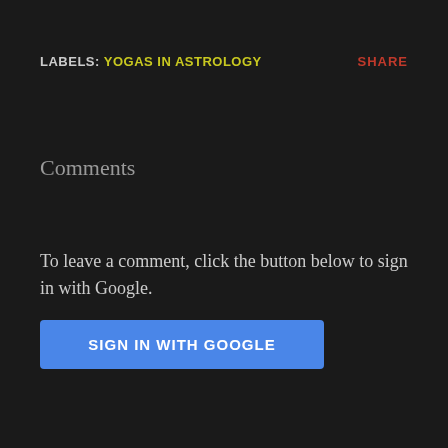LABELS: YOGAS IN ASTROLOGY    SHARE
Comments
To leave a comment, click the button below to sign in with Google.
SIGN IN WITH GOOGLE